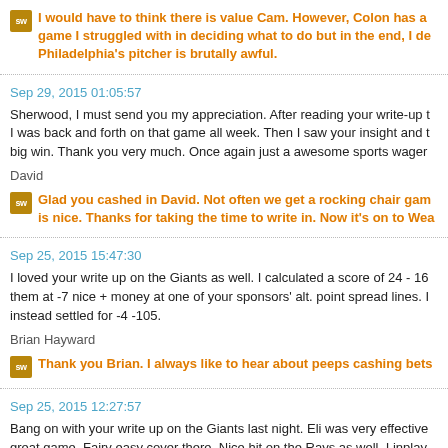I would have to think there is value Cam. However, Colon has a game I struggled with in deciding what to do but in the end, I de Philadelphia's pitcher is brutally awful.
Sep 29, 2015 01:05:57
Sherwood, I must send you my appreciation. After reading your write-up I was back and forth on that game all week. Then I saw your insight and big win. Thank you very much. Once again just a awesome sports wager
David
Glad you cashed in David. Not often we get a rocking chair gam is nice. Thanks for taking the time to write in. Now it's on to Wea
Sep 25, 2015 15:47:30
I loved your write up on the Giants as well. I calculated a score of 24 - 16 them at -7 nice + money at one of your sponsors' alt. point spread lines. instead settled for -4 -105.
Brian Hayward
Thank you Brian. I always like to hear about peeps cashing bets
Sep 25, 2015 12:27:57
Bang on with your write up on the Giants last night. Eli was very effective great game. Fairy easy cover there. Nice hit on the Rays as well, I inplay the fifth, nice pay out there. Keep up the good work.
Eric